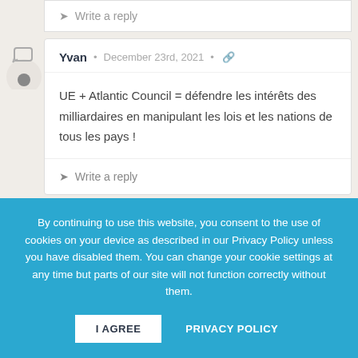➤ Write a reply
Yvan • December 23rd, 2021 •
UE + Atlantic Council = défendre les intérêts des milliardaires en manipulant les lois et les nations de tous les pays !
➤ Write a reply
By continuing to use this website, you consent to the use of cookies on your device as described in our Privacy Policy unless you have disabled them. You can change your cookie settings at any time but parts of our site will not function correctly without them.
I AGREE
PRIVACY POLICY